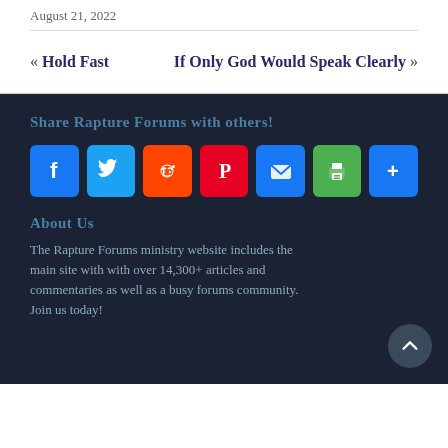August 21, 2022
« Hold Fast    If Only God Would Speak Clearly »
Share Rapture Forums with others!
[Figure (infographic): Social sharing buttons: Facebook, Twitter, Reddit, Pinterest, Email, Print, Share+]
About Us
The Rapture Forums ministry website includes the main site with with over 14,300+ articles and commentaries as well as a busy forums community. Join us today!